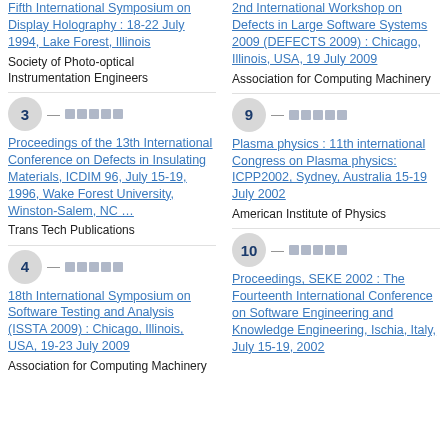Fifth International Symposium on Display Holography : 18-22 July 1994, Lake Forest, Illinois — Society of Photo-optical Instrumentation Engineers
2nd International Workshop on Defects in Large Software Systems 2009 (DEFECTS 2009) : Chicago, Illinois, USA, 19 July 2009 — Association for Computing Machinery
3 — Proceedings of the 13th International Conference on Defects in Insulating Materials, ICDIM 96, July 15-19, 1996, Wake Forest University, Winston-Salem, NC ... — Trans Tech Publications
9 — Plasma physics : 11th international Congress on Plasma physics: ICPP2002, Sydney, Australia 15-19 July 2002 — American Institute of Physics
4 — 18th International Symposium on Software Testing and Analysis (ISSTA 2009) : Chicago, Illinois, USA, 19-23 July 2009 — Association for Computing Machinery
10 — Proceedings, SEKE 2002 : The Fourteenth International Conference on Software Engineering and Knowledge Engineering, Ischia, Italy, July 15-19, 2002